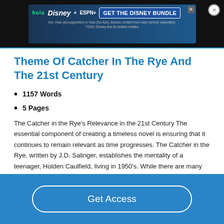[Figure (other): Disney Bundle advertisement banner with Hulu, Disney+, and ESPN+ logos and 'GET THE DISNEY BUNDLE' call to action button]
Theme Of Catcher In The Rye And The 21st Century
1157 Words
5 Pages
The Catcher in the Rye's Relevance in the 21st Century The essential component of creating a timeless novel is ensuring that it continues to remain relevant as time progresses. The Catcher in the Rye, written by J.D. Salinger, establishes the mentality of a teenager, Holden Caulfield, living in 1950's. While there are many differences in society presently, many of Holden's thoughts and affairs are similar
Get Access